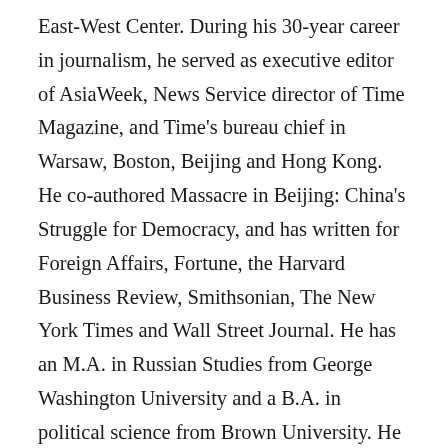East-West Center. During his 30-year career in journalism, he served as executive editor of AsiaWeek, News Service director of Time Magazine, and Time's bureau chief in Warsaw, Boston, Beijing and Hong Kong. He co-authored Massacre in Beijing: China's Struggle for Democracy, and has written for Foreign Affairs, Fortune, the Harvard Business Review, Smithsonian, The New York Times and Wall Street Journal. He has an M.A. in Russian Studies from George Washington University and a B.A. in political science from Brown University. He was a Lecturer at Stony Brook University from 2007-19 and was a Visiting Lecturer at Hong Kong in 2012 and at the University of Hawaiʻi at Mānoa in 2015. He is a member of the Council on Foreign Relations.